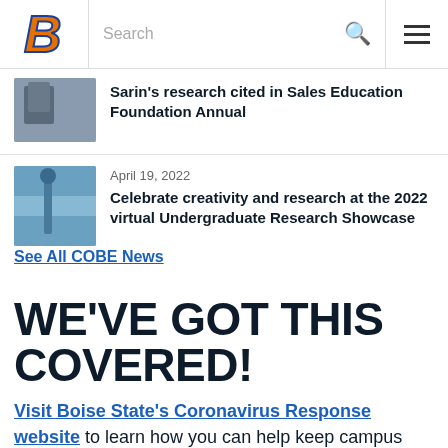[Figure (logo): Boise State University stylized B logo in orange and blue]
Search
Sarin's research cited in Sales Education Foundation Annual
April 19, 2022
Celebrate creativity and research at the 2022 virtual Undergraduate Research Showcase
See All COBE News
WE'VE GOT THIS COVERED!
Visit Boise State's Coronavirus Response website to learn how you can help keep campus open and safe.